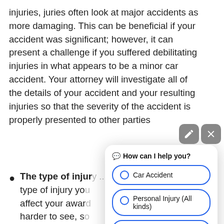injuries, juries often look at major accidents as more damaging. This can be beneficial if your accident was significant; however, it can present a challenge if you suffered debilitating injuries in what appears to be a minor car accident. Your attorney will investigate all of the details of your accident and your resulting injuries so that the severity of the accident is properly presented to other parties
The type of injury: ... type of injury you ... affect your award ... harder to see, so ... settlement offer ... received a brain ...
However, our attorneys at The Cates Law
[Figure (screenshot): Chat widget overlay with header 'How can I help you?' and three options: Car Accident, Personal Injury (All kinds), Medical Malpractice]